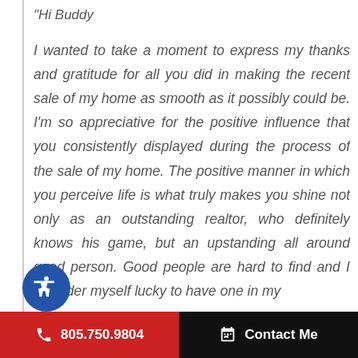"Hi Buddy

I wanted to take a moment to express my thanks and gratitude for all you did in making the recent sale of my home as smooth as it possibly could be. I'm so appreciative for the positive influence that you consistently displayed during the process of the sale of my home. The positive manner in which you perceive life is what truly makes you shine not only as an outstanding realtor, who definitely knows his game, but an upstanding all around good person. Good people are hard to find and I consider myself lucky to have one in my
805.750.9804   Contact Me